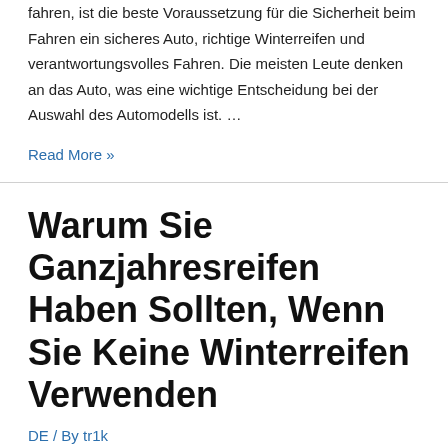fahren, ist die beste Voraussetzung für die Sicherheit beim Fahren ein sicheres Auto, richtige Winterreifen und verantwortungsvolles Fahren. Die meisten Leute denken an das Auto, was eine wichtige Entscheidung bei der Auswahl des Automodells ist. …
Read More »
Warum Sie Ganzjahresreifen Haben Sollten, Wenn Sie Keine Winterreifen Verwenden
DE / By tr1k
Wenn Sie in einem Gebiet leben, in dem Sie einen strengen Winter erleben, sollten Sie Winterreifen an Ihrem Auto haben. Bei rauen Winterbedingungen ist es nicht sicher, ein Fahrzeug ohne Reifen zu fahren, die für den Winterbetrieb zugelassen sind. Am besten